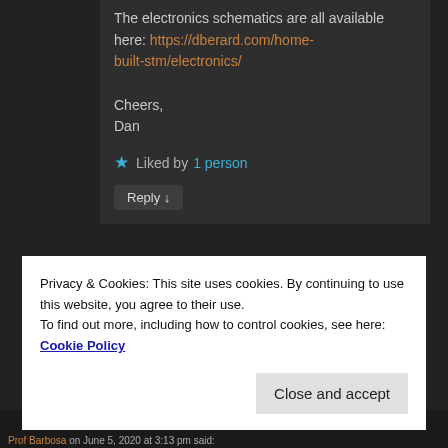The electronics schematics are all available here: https://dberard.com/home-built-stm/electronics/
Cheers,
Dan
★ Liked by 1 person
Reply ↓
[Figure (screenshot): Advertisement banner with dark blue background, circular icon, and italic text partially visible]
REPORT THIS AD
Privacy & Cookies: This site uses cookies. By continuing to use this website, you agree to their use.
To find out more, including how to control cookies, see here: Cookie Policy
Close and accept
Prof Barbosa on June 5, 2020 at 3:13 pm said: